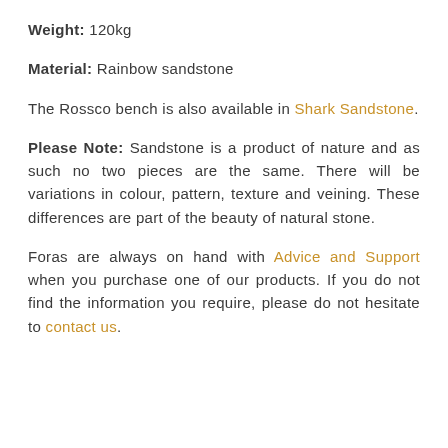Weight: 120kg
Material: Rainbow sandstone
The Rossco bench is also available in Shark Sandstone.
Please Note: Sandstone is a product of nature and as such no two pieces are the same. There will be variations in colour, pattern, texture and veining. These differences are part of the beauty of natural stone.
Foras are always on hand with Advice and Support when you purchase one of our products. If you do not find the information you require, please do not hesitate to contact us.